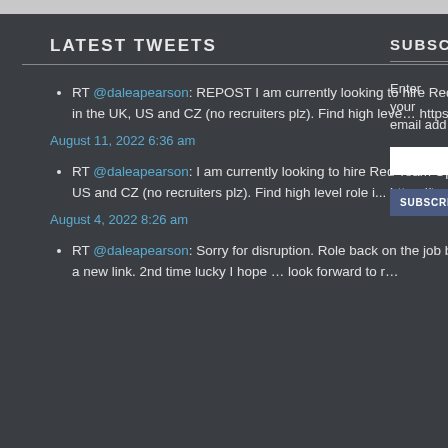LATEST TWEETS
RT @daleapearson: REPOST I am currently looking to hire Red Team Operators in the UK, US and CZ (no recruiters plz). Find high leve… https://t.co/Z5CBtQJlti
August 11, 2022 6:36 am
RT @daleapearson: I am currently looking to hire Red Team Operators in the UK, US and CZ (no recruiters plz). Find high level role i... https://t.co/W9ju2Xejxe
August 4, 2022 8:26 am
RT @daleapearson: Sorry for disruption. Role back on the job board but now with a new link. 2nd time lucky I hope … look forward to r...
SUBSCRIBE VI
Enter your email add
SUBSCRIBE